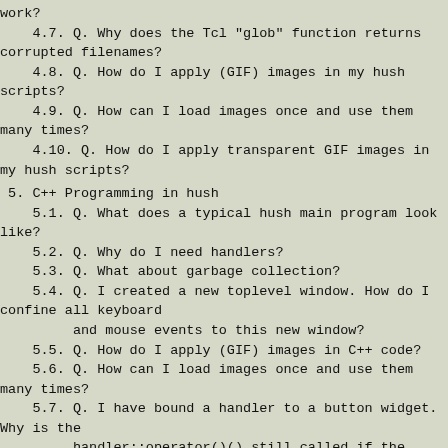work?
4.7. Q. Why does the Tcl "glob" function returns corrupted filenames?
4.8. Q. How do I apply (GIF) images in my hush scripts?
4.9. Q. How can I load images once and use them many times?
4.10. Q. How do I apply transparent GIF images in my hush scripts?
5. C++ Programming in hush
5.1. Q. What does a typical hush main program look like?
5.2. Q. Why do I need handlers?
5.3. Q. What about garbage collection?
5.4. Q. I created a new toplevel window. How do I confine all keyboard
         and mouse events to this new window?
5.5. Q. How do I apply (GIF) images in C++ code?
5.6. Q. How can I load images once and use them many times?
5.7. Q. I have bound a handler to a button widget. Why is the
         handler::operator()() still called if the button is pressed,
         __even__ after disabling the button?
5.8. Q. I have just inserted some text in my